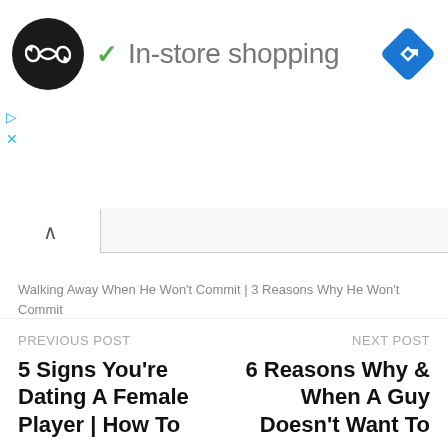[Figure (screenshot): Ad banner with circular logo (dark background with infinity-like arrows icon), green checkmark, 'In-store shopping' text in gray, and a blue navigation diamond icon on the right. Below the logo are small blue play and close buttons.]
Walking Away When He Won't Commit | 3 Reasons Why He Won't Commit
PREVIOUS POST
NEXT POST
5 Signs You're Dating A Female Player | How To
6 Reasons Why & When A Guy Doesn't Want To